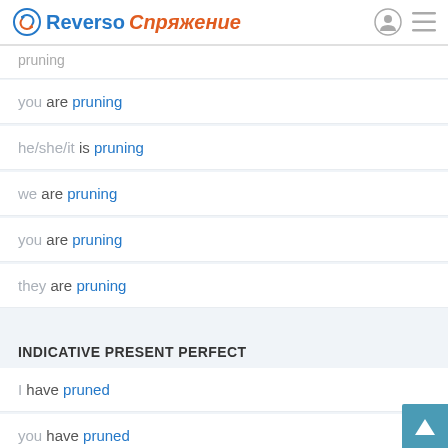Reverso Спряжение
you are pruning
he/she/it is pruning
we are pruning
you are pruning
they are pruning
INDICATIVE PRESENT PERFECT
I have pruned
you have pruned
he/she/it has pruned